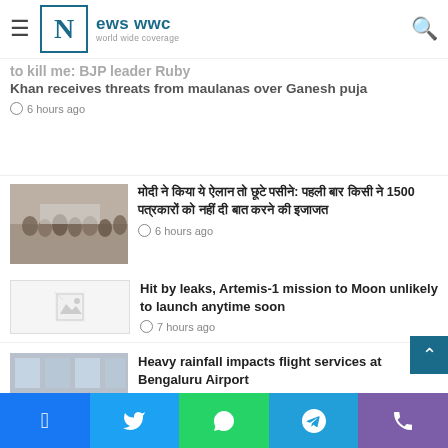News WWC - world wide coverage
to kill me: BJP leader Ruby Khan receives threats from maulanas over Ganesh puja — 6 hours ago
[Figure (photo): Crowd of people at a procession or rally]
Hindi headline with 1500 — 6 hours ago
[Figure (photo): Broken image placeholder]
Hit by leaks, Artemis-1 mission to Moon unlikely to launch anytime soon — 7 hours ago
[Figure (photo): Crowd at airport terminal with luggage]
Heavy rainfall impacts flight services at Bengaluru Airport — 7 hours ago
Facebook, Twitter, WhatsApp, Telegram, Phone social share buttons